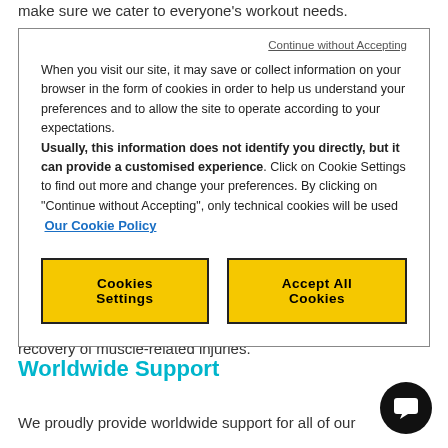make sure we cater to everyone's workout needs.
Continue without Accepting
When you visit our site, it may save or collect information on your browser in the form of cookies in order to help us understand your preferences and to allow the site to operate according to your expectations. Usually, this information does not identify you directly, but it can provide a customised experience. Click on Cookie Settings to find out more and change your preferences. By clicking on "Continue without Accepting", only technical cookies will be used Our Cookie Policy
Cookies Settings
Accept All Cookies
sessions and medically-certified gear that can aid in the recovery of muscle-related injuries.
Worldwide Support
We proudly provide worldwide support for all of our